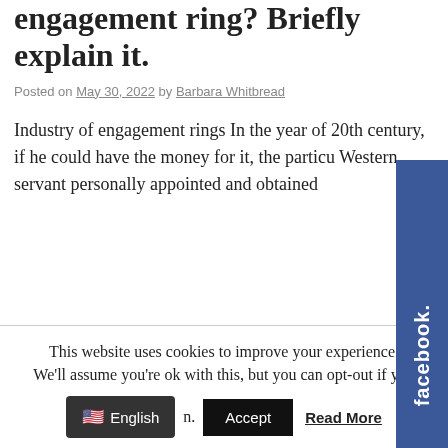engagement ring? Briefly explain it.
Posted on May 30, 2022 by Barbara Whitbread
Industry of engagement rings In the year of 20th century, if he could have the money for it, the particu Western servant personally appointed and obtained
[Figure (other): Facebook social share tab on the right side of the page, blue background with white 'facebook.' text rotated vertically]
This website uses cookies to improve your experience. We'll assume you're ok with this, but you can opt-out if you
English   Accept   Read More